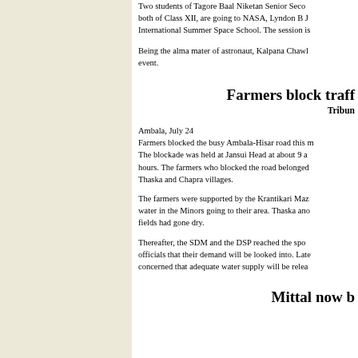Two students of Tagore Baal Niketan Senior Secondary School, both of Class XII, are going to NASA, Lyndon B Johnson Space Center, International Summer Space School. The session is
Being the alma mater of astronaut, Kalpana Chawl... event.
Farmers block traff
Tribun
Ambala, July 24
Farmers blocked the busy Ambala-Hisar road this m The blockade was held at Jansui Head at about 9 a hours. The farmers who blocked the road belonged Thaska and Chapra villages.
The farmers were supported by the Krantikari Maz water in the Minors going to their area. Thaska and fields had gone dry.
Thereafter, the SDM and the DSP reached the spot officials that their demand will be looked into. Late concerned that adequate water supply will be relea
Mittal now b